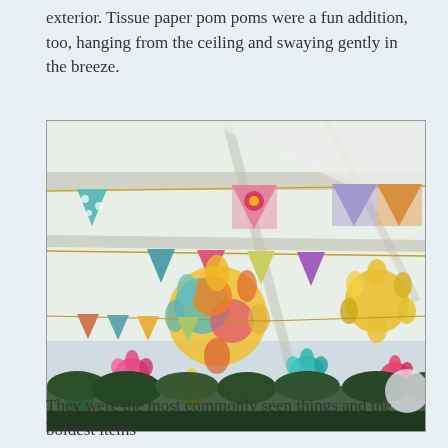exterior. Tissue paper pom poms were a fun addition, too, hanging from the ceiling and swaying gently in the breeze.
[Figure (photo): Interior of a party tent decorated with colorful bunting flags in various patterned fabrics and tissue paper pom poms hanging from the ceiling structure. The pom poms are yellow, pink, teal, and multicolored. The bunting strings with triangular flags in floral, dotted, and patterned prints are strung across the tent ceiling. Hedges and outdoor greenery are visible at the bottom.]
They were the most commonly seen things and the boldest items